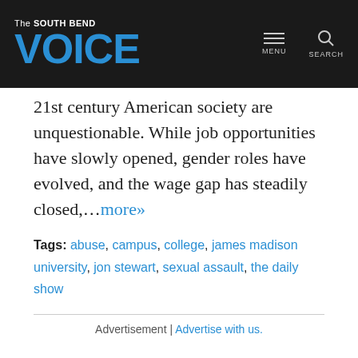The South Bend VOICE
21st century American society are unquestionable. While job opportunities have slowly opened, gender roles have evolved, and the wage gap has steadily closed,…more»
Tags: abuse, campus, college, james madison university, jon stewart, sexual assault, the daily show
Advertisement | Advertise with us.